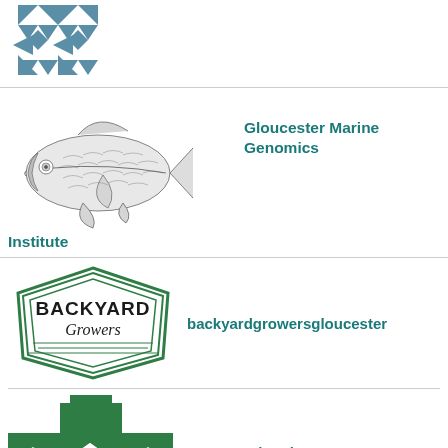[Figure (logo): Blue/teal geometric quilt-pattern logo with triangles and diamonds]
[Figure (illustration): Detailed line illustration of a fish (bluefish/striped bass), side view]
Gloucester Marine Genomics Institute
[Figure (logo): Backyard Growers logo - green diamond shape with bold text BACKYARD Growers in cursive]
backyardgrowersgloucester
[Figure (logo): Green cross/plus shaped logo with geometric cutouts and diamonds]
Beauport, the Sleeper-McCann